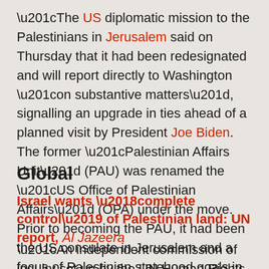“The US diplomatic mission to the Palestinians in Jerusalem said on Thursday that it had been redesignated and will report directly to Washington “on substantive matters”, signalling an upgrade in ties ahead of a planned visit by President Joe Biden. The former “Palestinian Affairs Unit” (PAU) was renamed the “US Office of Palestinian Affairs” (OPA) under the move. Prior to becoming the PAU, it had been the US consulate in Jerusalem and a focus of Palestinian statehood goals in the city.”
Global
Israel wants ‘complete control’ of Palestinian land: UN report, Al Jazeera
“An independent commission of inquiry set up by the UN Human Rights Council after the 2021 Israeli assault on the